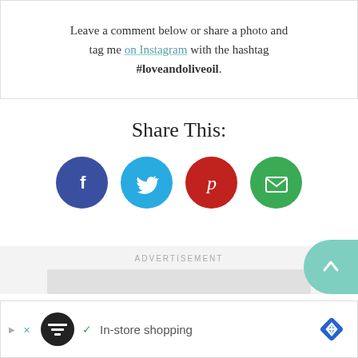Leave a comment below or share a photo and tag me on Instagram with the hashtag #loveandoliveoil.
Share This:
[Figure (infographic): Four social media share buttons: Facebook (dark blue circle with 'f'), Twitter (light blue circle with bird), Pinterest (red circle with 'p'), Email (green circle with envelope icon)]
ADVERTISEMENT
[Figure (screenshot): Advertisement banner placeholder — empty gray bar]
[Figure (screenshot): Bottom banner ad for in-store shopping with black circular logo, checkmark, blue diamond navigation icon, and X close button]